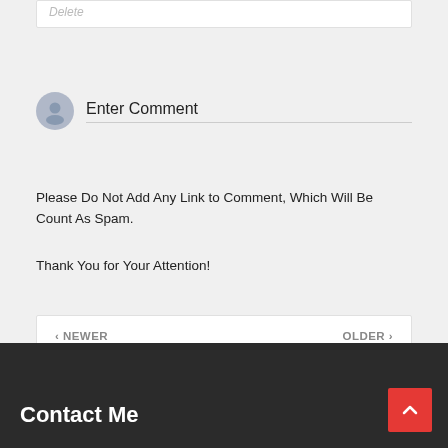Delete
Enter Comment
Please Do Not Add Any Link to Comment, Which Will Be Count As Spam.

Thank You for Your Attention!
< NEWER    OLDER >
Contact Me